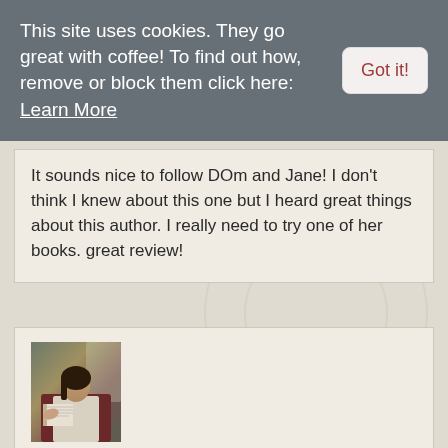This site uses cookies. They go great with coffee! To find out how, remove or block them click here: Learn More
Got it!
It sounds nice to follow DOm and Jane! I don't think I knew about this one but I heard great things about this author. I really need to try one of her books. great review!
[Figure (photo): Avatar photo of a woman reading a book, wearing a red patterned top and white vest]
Blodeuedd
January 27th, 2015
Sounds fun 🙂 And I have not read a book by her